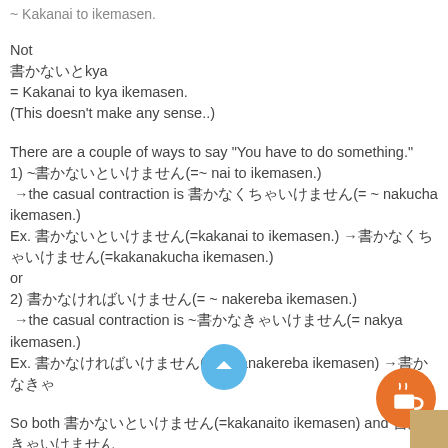~ Kakanai to ikemasen.
Not
書かないとkya
= Kakanai to kya ikemasen.
(This doesn't make any sense..)
There are a couple of ways to say "You have to do something."
1) ~書かないといけません(=~ nai to ikemasen.)
→the casual contraction is 書かなくちゃいけません(= ~ nakucha ikemasen.)
Ex. 書かないといけません(=kakanai to ikemasen.)→書かなくちゃいけません(=kakanakucha ikemasen.)
or
2) 書かなければいけません(= ~ nakereba ikemasen.)
→the casual contraction is ~書かなきゃいけません(= nakya ikemasen.)
Ex. 書かなければいけません(= kakanakereba ikemasen) →書かなきゃ
So both 書かないといけません(=kakanaito ikemasen) and 書かなきゃいけません('=kakanakya ikemasen) works when you want to say "have to"
Orti says:
OCTOBER 26, 2012 AT 1:55 PM